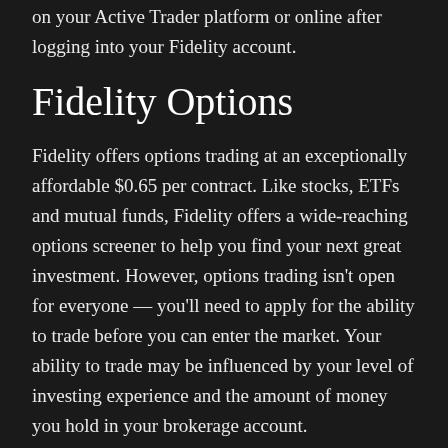on your Active Trader platform or online after logging into your Fidelity account.
Fidelity Options
Fidelity offers options trading at an exceptionally affordable $0.65 per contract. Like stocks, ETFs and mutual funds, Fidelity offers a wide-reaching options screener to help you find your next great investment. However, options trading isn't open for everyone — you'll need to apply for the ability to trade before you can enter the market. Your ability to trade may be influenced by your level of investing experience and the amount of money you hold in your brokerage account.
The Fidelity investments online app is 1 of the best brokerage apps we've come across, mirroring the full effectiveness of the desktop platform with a few additional